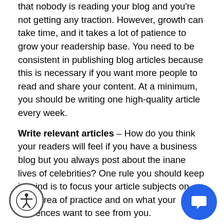that nobody is reading your blog and you're not getting any traction. However, growth can take time, and it takes a lot of patience to grow your readership base. You need to be consistent in publishing blog articles because this is necessary if you want more people to read and share your content. At a minimum, you should be writing one high-quality article every week.
Write relevant articles – How do you think your readers will feel if you have a business blog but you always post about the inane lives of celebrities? One rule you should keep in mind is to focus your article subjects on your area of practice and on what your audiences want to see from you.
Be helpful – You want your blog articles to be able to answer real questions and help with real-life problems. Know what your readers value, what matters they want to discuss, and how you can help them answer their queries or solve their concerns. Keep the comments section open and use your social networking sites to get in touch with your audience.
Pay attention to trends – Keep an eye on what's